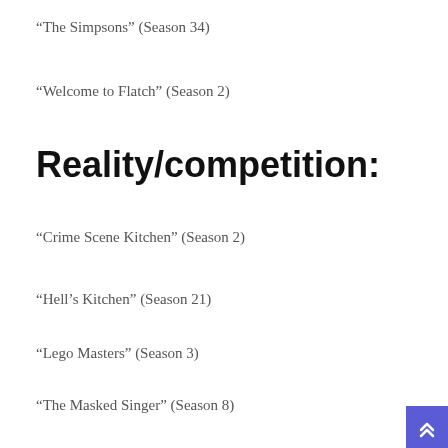“The Simpsons” (Season 34)
“Welcome to Flatch” (Season 2)
Reality/competition:
“Crime Scene Kitchen” (Season 2)
“Hell’s Kitchen” (Season 21)
“Lego Masters” (Season 3)
“The Masked Singer” (Season 8)
“Masterchef” (Season 12)
“Next Level Chef” (Season 2)